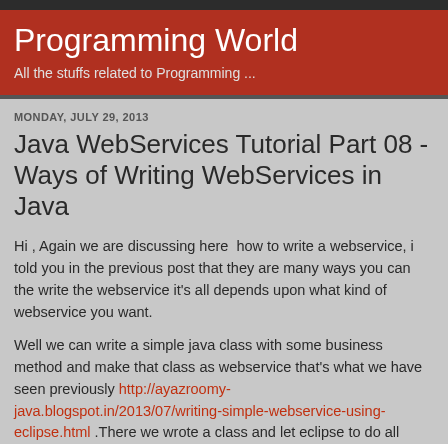Programming World
All the stuffs related to Programming ...
MONDAY, JULY 29, 2013
Java WebServices Tutorial Part 08 - Ways of Writing WebServices in Java
Hi , Again we are discussing here  how to write a webservice, i told you in the previous post that they are many ways you can the write the webservice it's all depends upon what kind of webservice you want.
Well we can write a simple java class with some business method and make that class as webservice that's what we have seen previously http://ayazroomy-java.blogspot.in/2013/07/writing-simple-webservice-using-eclipse.html .There we wrote a class and let eclipse to do all